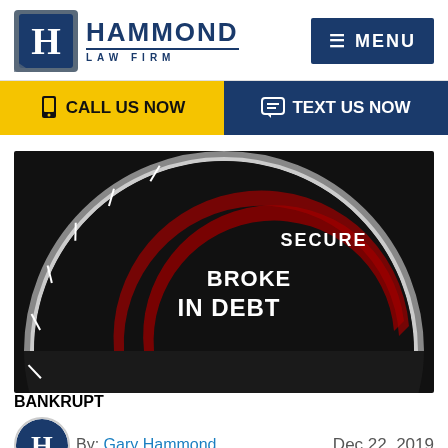[Figure (logo): Hammond Law Firm logo with stylized H icon in blue/gray and firm name]
[Figure (other): Navy blue MENU button with hamburger icon]
[Figure (other): Yellow CALL US NOW button with phone icon]
[Figure (other): Navy blue TEXT US NOW button with chat icon]
[Figure (photo): Speedometer gauge showing BANKRUPT at the needle, IN DEBT, BROKE, and SECURE labels on dark background]
By: Gary Hammond
Dec 22, 2019